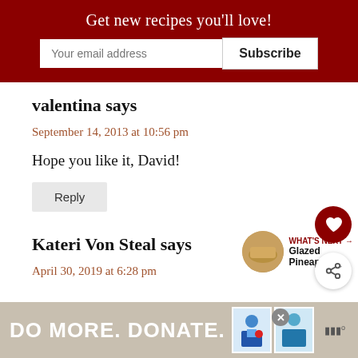Get new recipes you'll love!
valentina says
September 14, 2013 at 10:56 pm
Hope you like it, David!
Reply
Kateri Von Steal says
April 30, 2019 at 6:28 pm
WHAT'S NEXT → Glazed Pineapple...
DO MORE. DONATE.